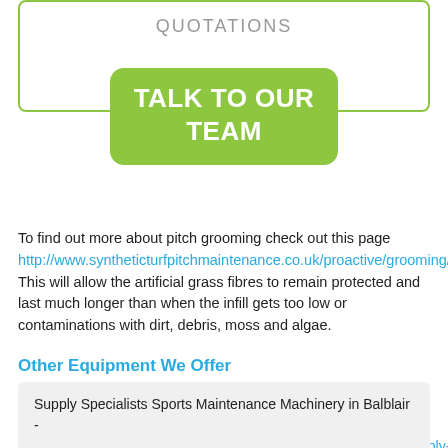QUOTATIONS
[Figure (infographic): Green rounded rectangle button with white bold text reading TALK TO OUR TEAM, overlapping a white outlined box]
To find out more about pitch grooming check out this page http://www.syntheticturfpitchmaintenance.co.uk/proactive/grooming/hig… This will allow the artificial grass fibres to remain protected and last much longer than when the infill gets too low or contaminations with dirt, debris, moss and algae.
Other Equipment We Offer
Supply Specialists Sports Maintenance Machinery in Balblair - https://www.syntheticturfpitchmaintenance.co.uk/equipment/supply-machinery/highland/balblair/
Supply of Sports Pitch Maintenance Paint in Balblair